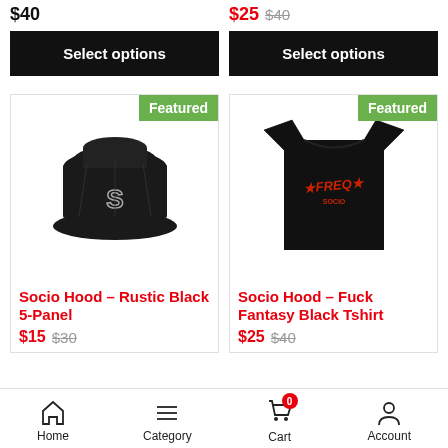$40
$25  $40
Select options
Select options
[Figure (photo): Black 5-panel hat with white S logo, Featured badge]
Featured
Socio Hood – Rustic Black 5-Panel
$15  $30
[Figure (photo): Black t-shirt with red graphic text logo, Featured badge]
Featured
Socio Hood – Fuck Fantasy Black Tshirt
$25  $40
Home  Category  Cart  Account